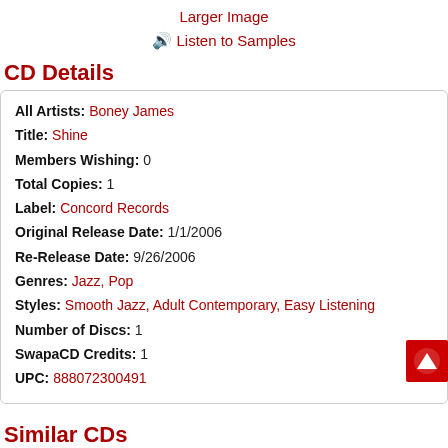Larger Image
Listen to Samples
CD Details
| All Artists: | Boney James |
| Title: | Shine |
| Members Wishing: | 0 |
| Total Copies: | 1 |
| Label: | Concord Records |
| Original Release Date: | 1/1/2006 |
| Re-Release Date: | 9/26/2006 |
| Genres: | Jazz, Pop |
| Styles: | Smooth Jazz, Adult Contemporary, Easy Listening |
| Number of Discs: | 1 |
| SwapaCD Credits: | 1 |
| UPC: | 888072300491 |
Similar CDs
Boney James
Backbone
Genres: Jazz, Pop